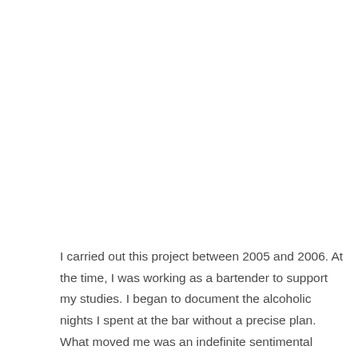I carried out this project between 2005 and 2006. At the time, I was working as a bartender to support my studies. I began to document the alcoholic nights I spent at the bar without a precise plan. What moved me was an indefinite sentimental impulse to which I was unable to give precise contours. There was, undeniably, also a